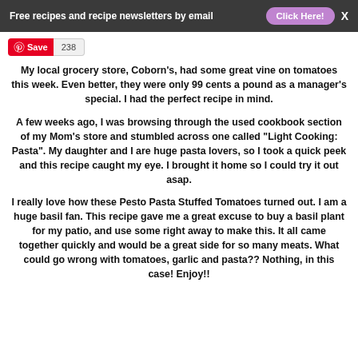Free recipes and recipe newsletters by email  Click Here!  X
[Figure (screenshot): Pinterest Save button with count 238]
My local grocery store, Coborn's, had some great vine on tomatoes this week. Even better, they were only 99 cents a pound as a manager's special. I had the perfect recipe in mind.
A few weeks ago, I was browsing through the used cookbook section of my Mom's store and stumbled across one called "Light Cooking: Pasta". My daughter and I are huge pasta lovers, so I took a quick peek and this recipe caught my eye. I brought it home so I could try it out asap.
I really love how these Pesto Pasta Stuffed Tomatoes turned out. I am a huge basil fan. This recipe gave me a great excuse to buy a basil plant for my patio, and use some right away to make this. It all came together quickly and would be a great side for so many meats. What could go wrong with tomatoes, garlic and pasta?? Nothing, in this case! Enjoy!!